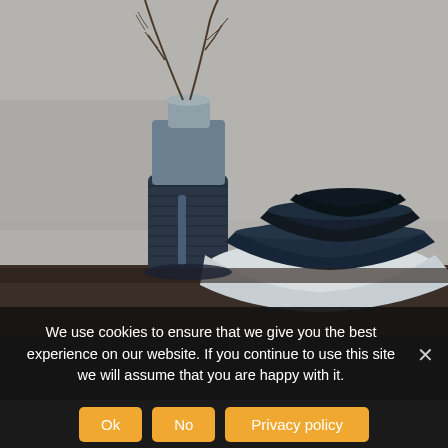[Figure (photo): A ceramic blue-grey vase with dried bare branches sticking out of it, placed next to a stack of dark blue/navy ceramic bowls of varying sizes on a dark wooden surface, against a grey background.]
We use cookies to ensure that we give you the best experience on our website. If you continue to use this site we will assume that you are happy with it.
Ok
No
Privacy policy